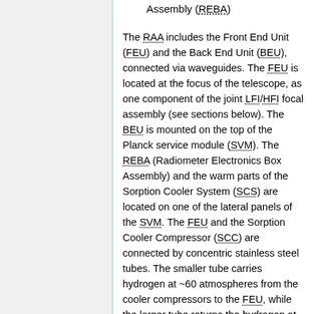Assembly (REBA)
The RAA includes the Front End Unit (FEU) and the Back End Unit (BEU), connected via waveguides. The FEU is located at the focus of the telescope, as one component of the joint LFI/HFI focal assembly (see sections below). The BEU is mounted on the top of the Planck service module (SVM). The REBA (Radiometer Electronics Box Assembly) and the warm parts of the Sorption Cooler System (SCS) are located on one of the lateral panels of the SVM. The FEU and the Sorption Cooler Compressor (SCC) are connected by concentric stainless steel tubes. The smaller tube carries hydrogen at ~60 atmospheres from the cooler compressors to the FEU, while the larger tube returns the hydrogen at ~0.3